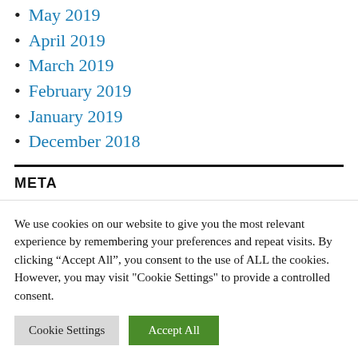May 2019
April 2019
March 2019
February 2019
January 2019
December 2018
META
We use cookies on our website to give you the most relevant experience by remembering your preferences and repeat visits. By clicking “Accept All”, you consent to the use of ALL the cookies. However, you may visit "Cookie Settings" to provide a controlled consent.